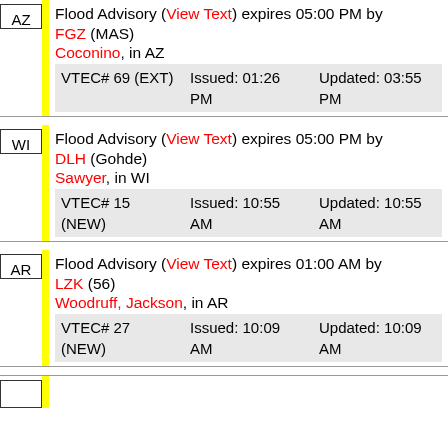AZ | Flood Advisory (View Text) expires 05:00 PM by FGZ (MAS) Coconino, in AZ VTEC# 69 (EXT) Issued: 01:26 PM Updated: 03:55 PM
WI | Flood Advisory (View Text) expires 05:00 PM by DLH (Gohde) Sawyer, in WI VTEC# 15 (NEW) Issued: 10:55 AM Updated: 10:55 AM
AR | Flood Advisory (View Text) expires 01:00 AM by LZK (56) Woodruff, Jackson, in AR VTEC# 27 (NEW) Issued: 10:09 AM Updated: 10:09 AM